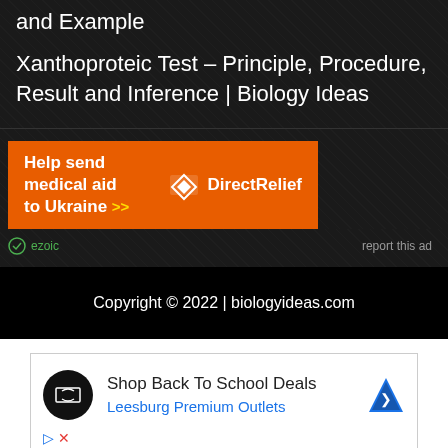and Example
Xanthoproteic Test – Principle, Procedure, Result and Inference | Biology Ideas
[Figure (infographic): Orange DirectRelief advertisement banner: 'Help send medical aid to Ukraine >>' with DirectRelief logo on the right]
ezoic   report this ad
Copyright © 2022 | biologyideas.com
[Figure (infographic): Advertisement box: Shop Back To School Deals – Leesburg Premium Outlets, with shop icon and map pin icon]